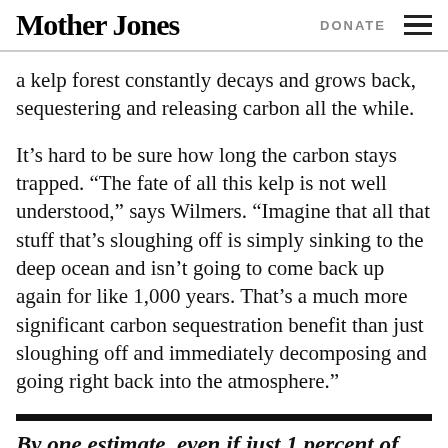Mother Jones  DONATE
a kelp forest constantly decays and grows back, sequestering and releasing carbon all the while.
It's hard to be sure how long the carbon stays trapped. “The fate of all this kelp is not well understood,” says Wilmers. “Imagine that all that stuff that’s sloughing off is simply sinking to the deep ocean and isn’t going to come back up again for like 1,000 years. That’s a much more significant carbon sequestration benefit than just sloughing off and immediately decomposing and going right back into the atmosphere.”
By one estimate, even if just 1 percent of